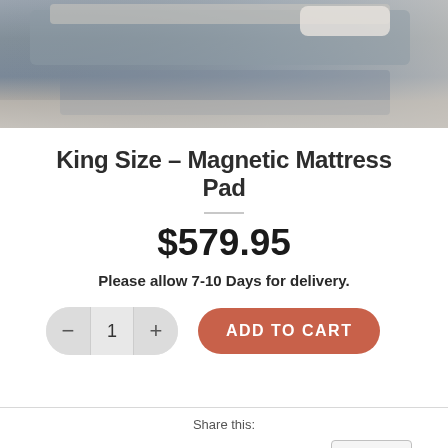[Figure (photo): Product photo of a King Size Magnetic Mattress Pad, showing grey/blue fabric with a white label, stacked bedding in background.]
King Size – Magnetic Mattress Pad
$579.95
Please allow 7-10 Days for delivery.
ADD TO CART
Share this:
Tweet  Share on Tumblr  Email